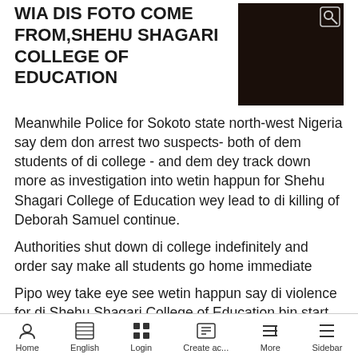WIA DIS FOTO COME FROM,SHEHU SHAGARI COLLEGE OF EDUCATION
[Figure (photo): Dark image with a search/zoom icon in the top-right corner, appearing to be a photo from Shehu Shagari College of Education]
Meanwhile Police for Sokoto state north-west Nigeria say dem don arrest two suspects- both of dem students of di college - and dem dey track down more as investigation into wetin happun for Shehu Shagari College of Education wey lead to di killing of Deborah Samuel continue.
Authorities shut down di college indefinitely and order say make all students go home immediate
Pipo wey take eye see wetin happun say di violence for di Shehu Shagari College of Education bin start wen di student - wey dem say be Christian- dey accused of making comments on social media dwey dem tag as blasphemy.
Dis wan cause angry reaction from some Muslim
Home  English  Login  Create ac...  More  Sidebar